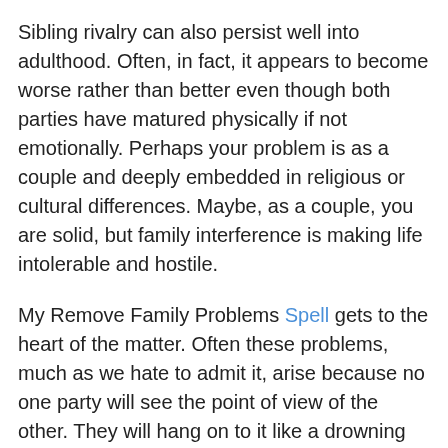Sibling rivalry can also persist well into adulthood. Often, in fact, it appears to become worse rather than better even though both parties have matured physically if not emotionally. Perhaps your problem is as a couple and deeply embedded in religious or cultural differences. Maybe, as a couple, you are solid, but family interference is making life intolerable and hostile.
My Remove Family Problems Spell gets to the heart of the matter. Often these problems, much as we hate to admit it, arise because no one party will see the point of view of the other. They will hang on to it like a drowning man a life-raft, and so the issues are rarely resolved with ease. Yet my spell helps them see the other perspective.